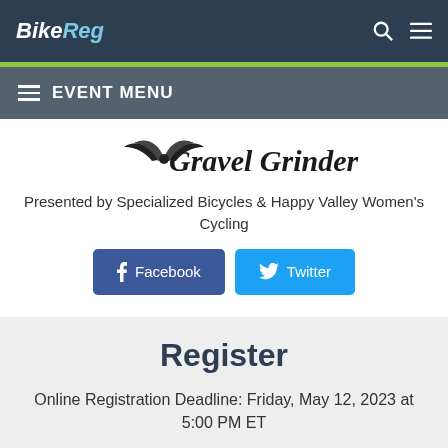BikeReg
EVENT MENU
[Figure (illustration): Gravel Grinder event logo with stylized bird/wings graphic and cursive text]
Presented by Specialized Bicycles & Happy Valley Women's Cycling
[Figure (other): Facebook and Twitter social share buttons]
Register
Online Registration Deadline: Friday, May 12, 2023 at 5:00 PM ET
Total Event Registration Limit: 600
— SELECT YOUR CATEGORY —